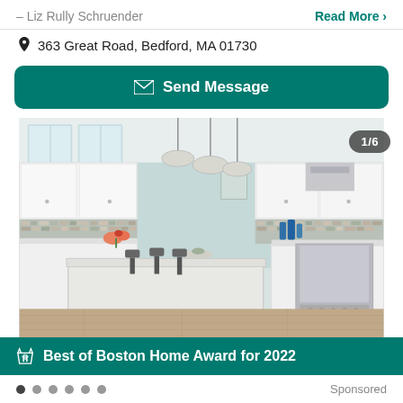– Liz Rully Schruender
Read More >
363 Great Road, Bedford, MA 01730
Send Message
[Figure (photo): Photo of a bright white kitchen interior with large island, pendant lights, mosaic tile backsplash, stainless steel range, and bar stools. Image counter shows 1/6 in top right corner.]
Best of Boston Home Award for 2022
Sponsored